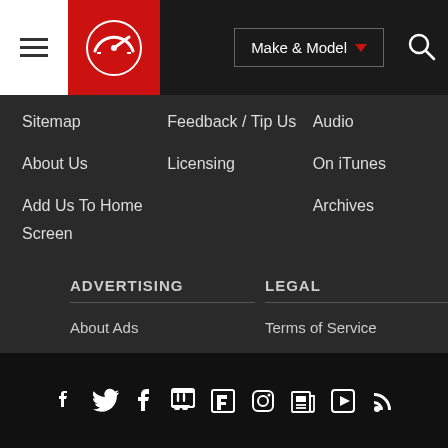[Figure (logo): Navigation bar with hamburger menu, red circular logo with stylized G/gauge icon, Make & Model dropdown button, and search icon]
Sitemap
About Us
Add Us To Home
Screen
Feedback / Tip Us
Licensing
Audio
On iTunes
Archives
ADVERTISING
About Ads
Advertise With Us
LEGAL
Terms of Service
Privacy Policy
Trademarks
[Figure (other): Social media icons row: Facebook, Twitter, Tumblr, Twitch, Flipboard, Instagram, News, Play, RSS]